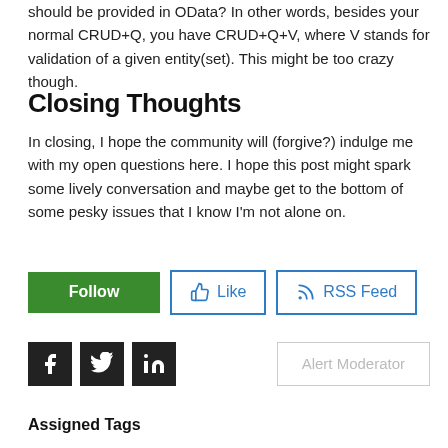should be provided in OData? In other words, besides your normal CRUD+Q, you have CRUD+Q+V, where V stands for validation of a given entity(set). This might be too crazy though.
Closing Thoughts
In closing, I hope the community will (forgive?) indulge me with my open questions here. I hope this post might spark some lively conversation and maybe get to the bottom of some pesky issues that I know I'm not alone on.
[Figure (other): Social action buttons: Follow (green), Like (outlined), RSS Feed (outlined)]
[Figure (other): Social share icons: Facebook, Twitter, LinkedIn (dark squares), and Alert Moderator button]
Assigned Tags